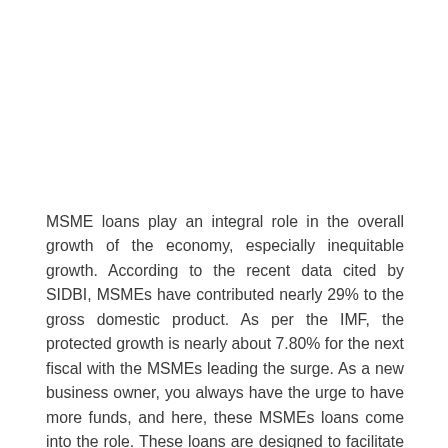MSME loans play an integral role in the overall growth of the economy, especially inequitable growth. According to the recent data cited by SIDBI, MSMEs have contributed nearly 29% to the gross domestic product. As per the IMF, the protected growth is nearly about 7.80% for the next fiscal with the MSMEs leading the surge. As a new business owner, you always have the urge to have more funds, and here, these MSMEs loans come into the role. These loans are designed to facilitate business owners so that they can meet their financial requirements with ease. You can easily spot numerous NBFCs that offer